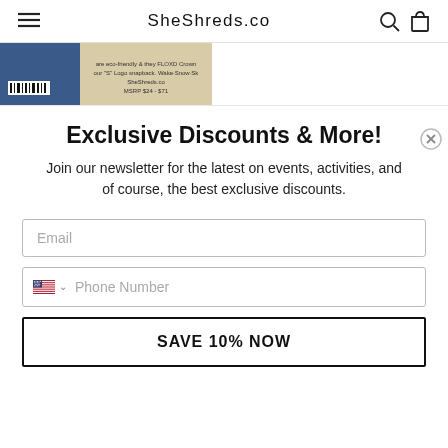SheShreds.co
[Figure (screenshot): Two product image thumbnails: a dark blue product image with a barcode, and a tan/beige product card with text about eco-friendly FLOXD Crown S Logo snapback, SheShreds.co, MSRP $24-$71]
Exclusive Discounts & More!
Join our newsletter for the latest on events, activities, and of course, the best exclusive discounts.
Email
Phone Number
SAVE 10% NOW